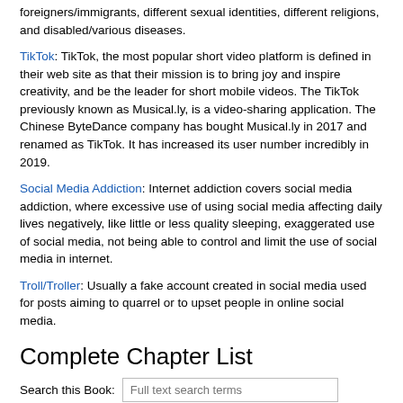foreigners/immigrants, different sexual identities, different religions, and disabled/various diseases.
TikTok: TikTok, the most popular short video platform is defined in their web site as that their mission is to bring joy and inspire creativity, and be the leader for short mobile videos. The TikTok previously known as Musical.ly, is a video-sharing application. The Chinese ByteDance company has bought Musical.ly in 2017 and renamed as TikTok. It has increased its user number incredibly in 2019.
Social Media Addiction: Internet addiction covers social media addiction, where excessive use of using social media affecting daily lives negatively, like little or less quality sleeping, exaggerated use of social media, not being able to control and limit the use of social media in internet.
Troll/Troller: Usually a fake account created in social media used for posts aiming to quarrel or to upset people in online social media.
Complete Chapter List
Search this Book:
Editorial Advisory Board
Table of Contents